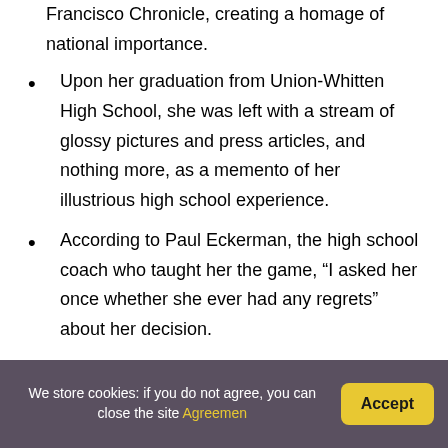Francisco Chronicle, creating a homage of national importance.
Upon her graduation from Union-Whitten High School, she was left with a stream of glossy pictures and press articles, and nothing more, as a memento of her illustrious high school experience.
According to Paul Eckerman, the high school coach who taught her the game, “I asked her once whether she ever had any regrets” about her decision.
Her once-sharp, appealing features have been softened to accept a pair of horn-rimmed spectacles,
We store cookies: if you do not agree, you can close the site Agreemen
Accept